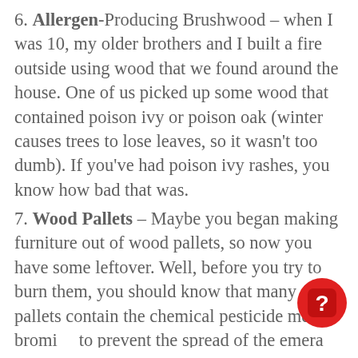6. Allergen-Producing Brushwood – when I was 10, my older brothers and I built a fire outside using wood that we found around the house. One of us picked up some wood that contained poison ivy or poison oak (winter causes trees to lose leaves, so it wasn't too dumb). If you've had poison ivy rashes, you know how bad that was.
7. Wood Pallets – Maybe you began making furniture out of wood pallets, so now you have some leftover. Well, before you try to burn them, you should know that many pallets contain the chemical pesticide methyl bromide to prevent the spread of the emerald ash borer.